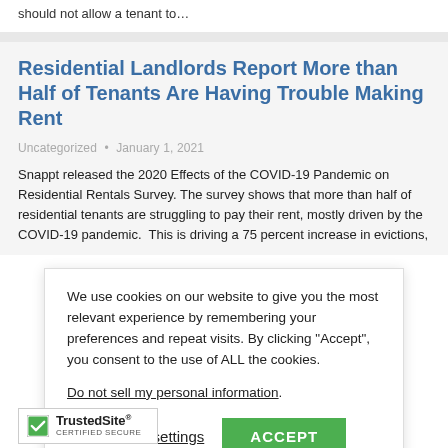should not allow a tenant to…
Residential Landlords Report More than Half of Tenants Are Having Trouble Making Rent
Uncategorized • January 1, 2021
Snappt released the 2020 Effects of the COVID-19 Pandemic on Residential Rentals Survey. The survey shows that more than half of residential tenants are struggling to pay their rent, mostly driven by the COVID-19 pandemic.  This is driving a 75 percent increase in evictions,
We use cookies on our website to give you the most relevant experience by remembering your preferences and repeat visits. By clicking "Accept", you consent to the use of ALL the cookies.

Do not sell my personal information.

Cookie settings   ACCEPT